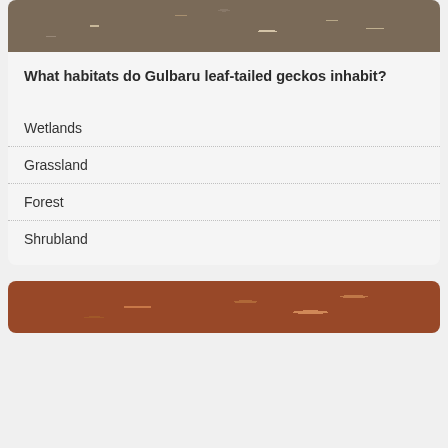[Figure (photo): Close-up photo of a Gulbaru leaf-tailed gecko camouflaged on rocks and moss, top portion visible]
What habitats do Gulbaru leaf-tailed geckos inhabit?
Wetlands
Grassland
Forest
Shrubland
[Figure (photo): Partial photo of another gecko or reptile, bottom of page, orange-brown coloring]